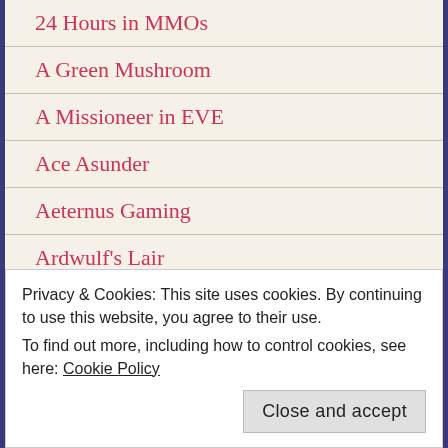24 Hours in MMOs
A Green Mushroom
A Missioneer in EVE
Ace Asunder
Aeternus Gaming
Ardwulf's Lair
Ash's Adventures
Aywren Sojourner
Backlog Crusader
Privacy & Cookies: This site uses cookies. By continuing to use this website, you agree to their use.
To find out more, including how to control cookies, see here: Cookie Policy
Close and accept